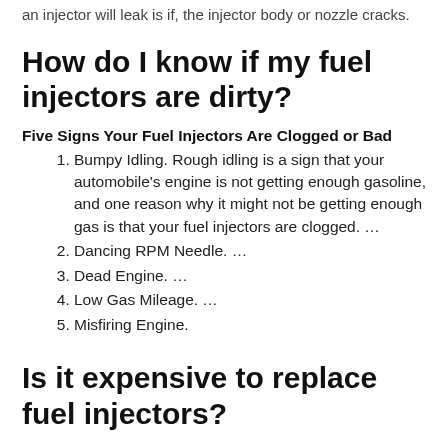an injector will leak is if, the injector body or nozzle cracks.
How do I know if my fuel injectors are dirty?
Five Signs Your Fuel Injectors Are Clogged or Bad
Bumpy Idling. Rough idling is a sign that your automobile's engine is not getting enough gasoline, and one reason why it might not be getting enough gas is that your fuel injectors are clogged. …
Dancing RPM Needle. …
Dead Engine. …
Low Gas Mileage. …
Misfiring Engine.
Is it expensive to replace fuel injectors?